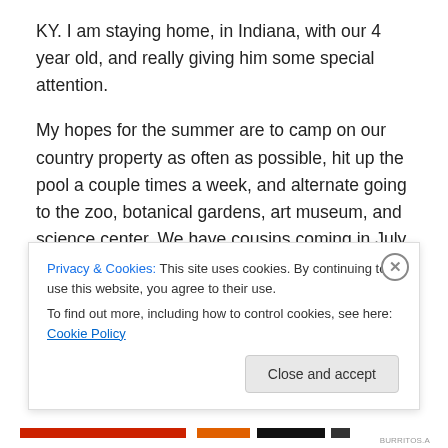KY. I am staying home, in Indiana, with our 4 year old, and really giving him some special attention.
My hopes for the summer are to camp on our country property as often as possible, hit up the pool a couple times a week, and alternate going to the zoo, botanical gardens, art museum, and science center. We have cousins coming in July for a couple weeks. They have normally lived abroad, but moved back to the states at Christmas, so we will see them a little more.
I am looking forward to beginning 1st grade yet on yet
Privacy & Cookies: This site uses cookies. By continuing to use this website, you agree to their use.
To find out more, including how to control cookies, see here: Cookie Policy
Close and accept